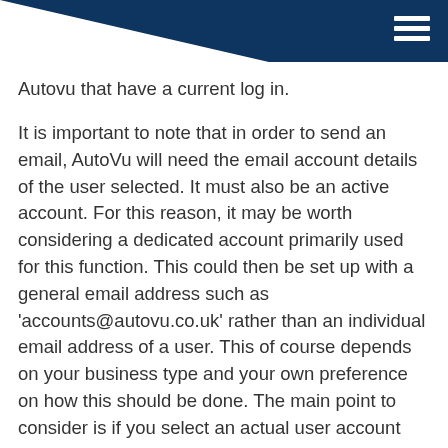Menu
Autovu that have a current log in.
It is important to note that in order to send an email, AutoVu will need the email account details of the user selected. It must also be an active account. For this reason, it may be worth considering a dedicated account primarily used for this function. This could then be set up with a general email address such as 'accounts@autovu.co.uk' rather than an individual email address of a user. This of course depends on your business type and your own preference on how this should be done. The main point to consider is if you select an actual user account and then at some point in the future they leave the company and you make their account